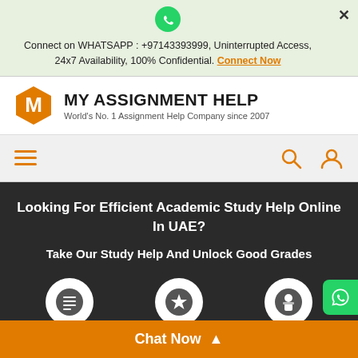Connect on WHATSAPP : +97143393999, Uninterrupted Access, 24x7 Availability, 100% Confidential. Connect Now
[Figure (logo): My Assignment Help logo with orange hexagon M icon and brand name]
[Figure (screenshot): Navigation bar with hamburger menu, search icon, user icon]
Looking For Efficient Academic Study Help Online In UAE?
Take Our Study Help And Unlock Good Grades
2,071,698 Orders Delivered
4.9/5 5 Star Rating
5,192 PhD Experts
Guaranteed Higher Grade Or Get Your Money Back!
Chat Now